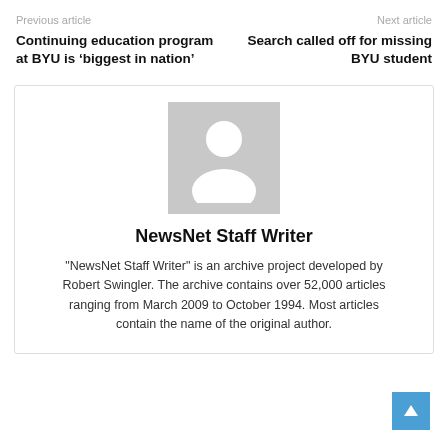Previous article
Next article
Continuing education program at BYU is ‘biggest in nation’
Search called off for missing BYU student
[Figure (photo): Default avatar placeholder image — grey square with white silhouette of a person (head and shoulders)]
NewsNet Staff Writer
"NewsNet Staff Writer" is an archive project developed by Robert Swingler. The archive contains over 52,000 articles ranging from March 2009 to October 1994. Most articles contain the name of the original author.